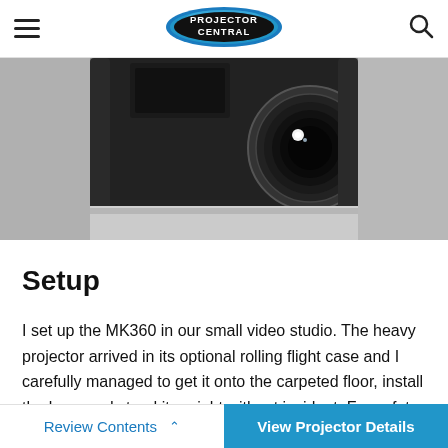PROJECTOR CENTRAL
[Figure (photo): Close-up photo of a projector lens and body against a light background. The projector is black with a prominent circular lens showing a bright specular highlight.]
Setup
I set up the MK360 in our small video studio. The heavy projector arrived in its optional rolling flight case and I carefully managed to get it onto the carpeted floor, install the legs, and stand it upright without incident. For safety you should absolutely count on having two pair of hands
Review Contents  ∧    View Projector Details